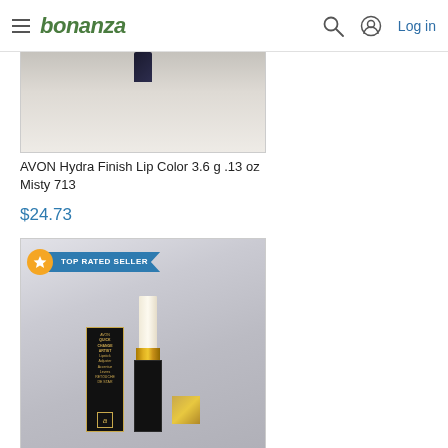bonanza  Log in
[Figure (photo): Partial product photo of AVON Hydra Finish Lip Color, showing top of lipstick cap against beige/cream background]
AVON Hydra Finish Lip Color 3.6 g .13 oz Misty 713
$24.73
[Figure (photo): AVON Quick Change Artist Lipstick Adjuster product photo showing black and gold lipstick tube and packaging box, with TOP RATED SELLER badge]